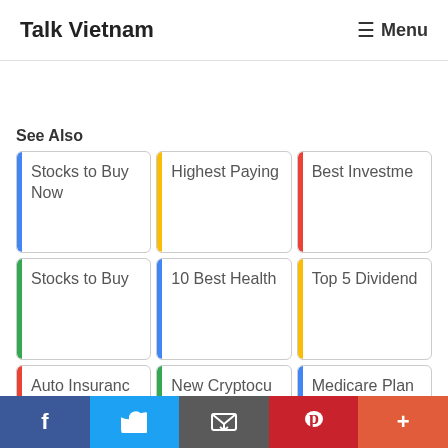Talk Vietnam   ☰ Menu
See Also
Stocks to Buy Now
Highest Paying
Best Investme
Stocks to Buy
10 Best Health
Top 5 Dividend
Auto Insuranc
New Cryptocu
Medicare Plan B
Our food fact
f  🐦  ✉  p  +